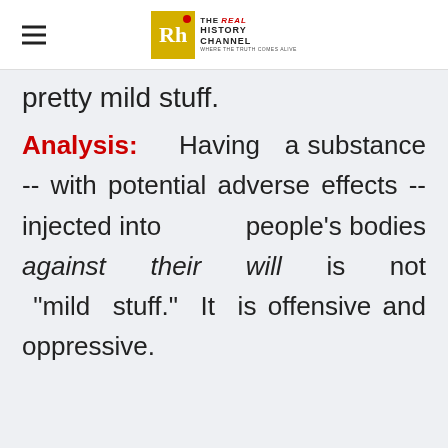THE REAL HISTORY CHANNEL — WHERE THE TRUTH COMES ALIVE
pretty mild stuff.
Analysis: Having a substance -- with potential adverse effects -- injected into people's bodies against their will is not "mild stuff." It is offensive and oppressive.